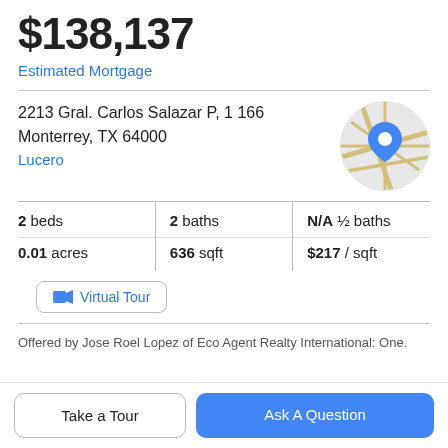$138,137
Estimated Mortgage
2213 Gral. Carlos Salazar P, 1 166
Monterrey, TX 64000
Lucero
[Figure (map): Circular map thumbnail with a blue location pin marker, showing street grid with beige/yellow roads on gray background.]
| 2 beds | 2 baths | N/A ½ baths |
| 0.01 acres | 636 sqft | $217 / sqft |
Virtual Tour
Offered by Jose Roel Lopez of Eco Agent Realty International: One.
Take a Tour
Ask A Question